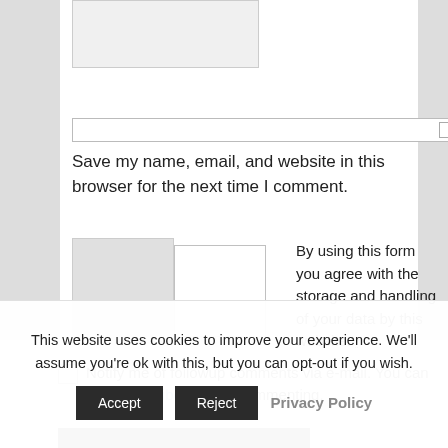[Figure (screenshot): Input text box at top of comment form, partially visible]
[Figure (screenshot): Wide input field with checkbox on right side for save name/email/website]
Save my name, email, and website in this browser for the next time I comment.
[Figure (screenshot): reCAPTCHA widget with checkbox and logo]
By using this form you agree with the storage and handling of your data by this website. *
Notify me of followup comments via e-mail. You can also subscribe without commenting.
[Figure (screenshot): POST COMMENT button, dark/black background with white text]
This website uses cookies to improve your experience. We'll assume you're ok with this, but you can opt-out if you wish.
Accept   Reject   Privacy Policy